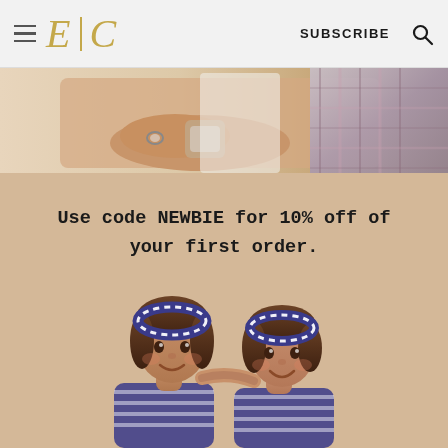E | C  SUBSCRIBE 🔍
[Figure (photo): Top banner photo showing a person's wrist/hand with a ring, wearing a watch, with plaid fabric visible on the right side]
[Figure (photo): Promotional image with beige/tan background featuring two young girls with striped headbands hugging and smiling, wearing striped clothing]
Use code NEWBIE for 10% off of your first order.